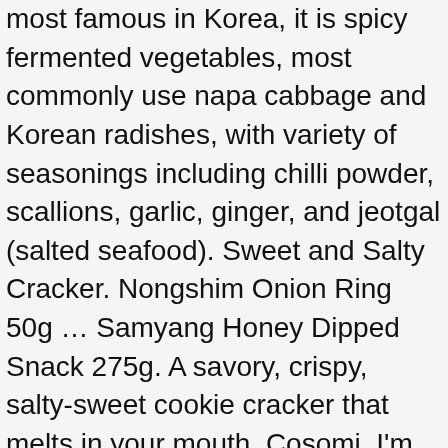most famous in Korea, it is spicy fermented vegetables, most commonly use napa cabbage and Korean radishes, with variety of seasonings including chilli powder, scallions, garlic, ginger, and jeotgal (salted seafood). Sweet and Salty Cracker. Nongshim Onion Ring 50g … Samyang Honey Dipped Snack 275g. A savory, crispy, salty-sweet cookie cracker that melts in your mouth. Cosomi. I'm curious to hear what it tastes like. Prime Cart. Highlights: Multiple Payment Options Available; Friendly Place. Enjoy these cookies paired with a cup of your fa Learn about the number of calories and nutritional and diet information for Orion. Made of only a few ingredients—unbleached sugar, saffron, lime juice, and cinnamon—the syrup makes almost any drink taste better and more complex. Orion GoSoMi Korean Cracker Snack 12 Individual Packs . Cosomi is a thin and light cookie-cracker, with a sweet nutty taste of sesame coconut. Dec 30, 2013 - Gosomi Korean cookies. Sweet, spicy, crunchy, and chewy - Korean Snacks are boldly unique and feature exotic and delightful combinations of flavors. Product features: Stresses Thinness and Lightness Premium Biscuit; Gosomi is a